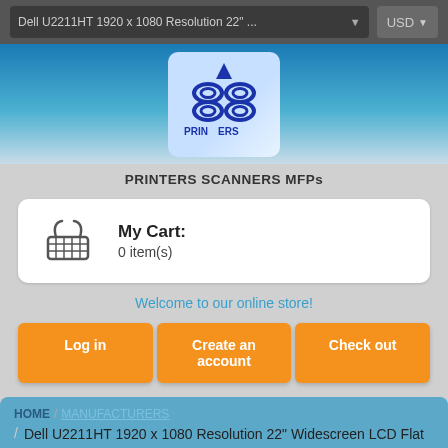Dell U2211HT 1920 x 1080 Resolution 22" ... | USD
[Figure (logo): Printers Scanners MFPs store logo — blue stylized printer/scanner icon on light blue background with PRINTERS text at bottom]
PRINTERS SCANNERS MFPs
My Cart: 0 item(s)
Welcome to our online store!
Log in | Create an account | Check out
HOME / [breadcrumb] / Dell U2211HT 1920 x 1080 Resolution 22" Widescreen LCD Flat Panel Comp